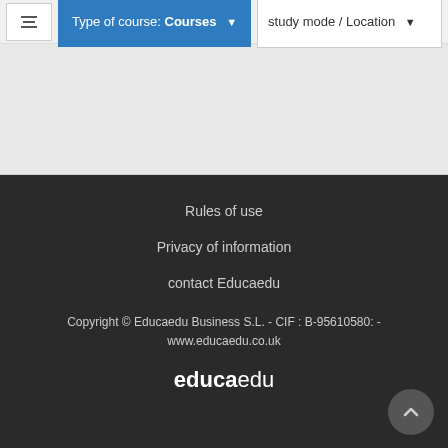Type of course: Courses  study mode / Location
Rules of use
Privacy of information
contact Educaedu
Copyright © Educaedu Business S.L. - CIF : B-95610580: - www.educaedu.co.uk
educaedu